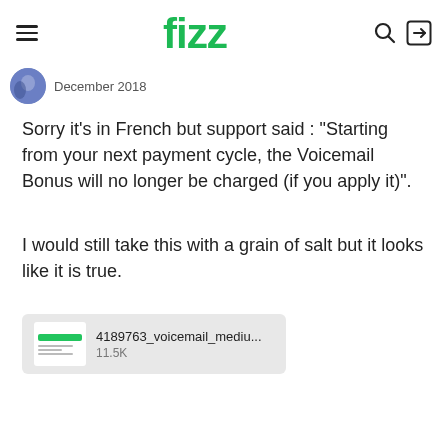fizz
December 2018
Sorry it's in French but support said :  "Starting from your next payment cycle, the Voicemail Bonus will no longer be charged (if you apply it)".
I would still take this with a grain of salt but it looks like it is true.
[Figure (other): File attachment thumbnail showing a file named '4189763_voicemail_mediu...' with size 11.5K, with a green bar and text lines thumbnail]